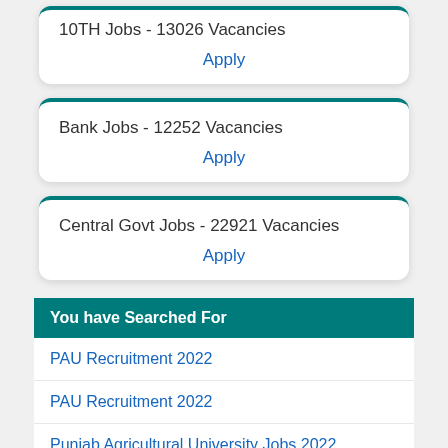10TH Jobs - 13026 Vacancies
Apply
Bank Jobs - 12252 Vacancies
Apply
Central Govt Jobs - 22921 Vacancies
Apply
You have Searched For
PAU Recruitment 2022
PAU Recruitment 2022
Punjab Agricultural University Jobs 2022